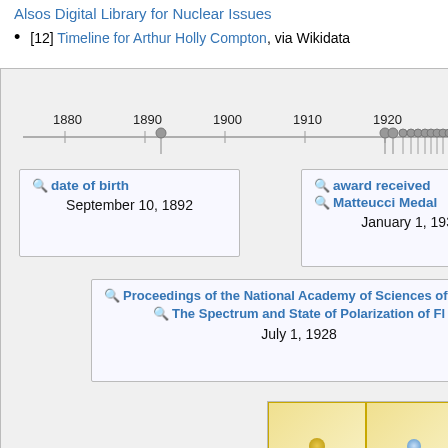Alsos Digital Library for Nuclear Issues
[12] Timeline for Arthur Holly Compton, via Wikidata
[Figure (infographic): Interactive Wikidata timeline for Arthur Holly Compton showing events from 1880 to 1930+. Timeline axis with year markers (1880, 1890, 1900, 1910, 1920, 1930) and event dots. Three info cards: (1) date of birth - September 10, 1892; (2) award received - Matteucci Medal, January 1, 1930; (3) publication - Proceedings of the National Academy of Sciences, The Spectrum and State of Polarization of Fl... July 1, 1928. A decorative certificate image is visible at bottom right.]